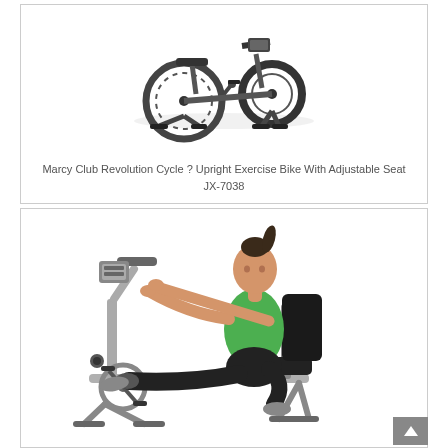[Figure (photo): Marcy Club Revolution Cycle spinning/upright exercise bike, dark grey/black color, shown on white background]
Marcy Club Revolution Cycle ? Upright Exercise Bike With Adjustable Seat JX-7038
[Figure (photo): Woman in green tank top and black leggings seated on a recumbent exercise bike, silver/grey frame, on white background]